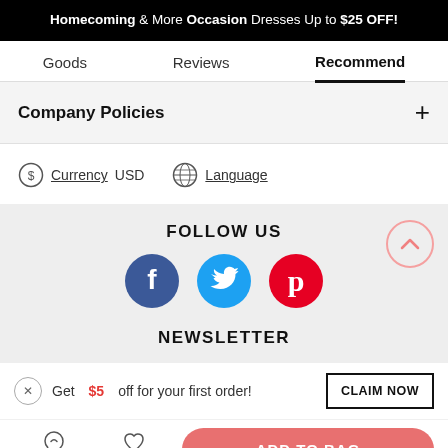Homecoming & More Occasion Dresses Up to $25 OFF!
Goods   Reviews   Recommend
Company Policies +
Currency USD   Language
FOLLOW US
[Figure (illustration): Social media icons: Facebook (blue circle with f), Twitter (cyan circle with bird), Pinterest (red circle with P)]
NEWSLETTER
Get $5 off for your first order!   CLAIM NOW
Live Chat   Like   ADD TO BAG